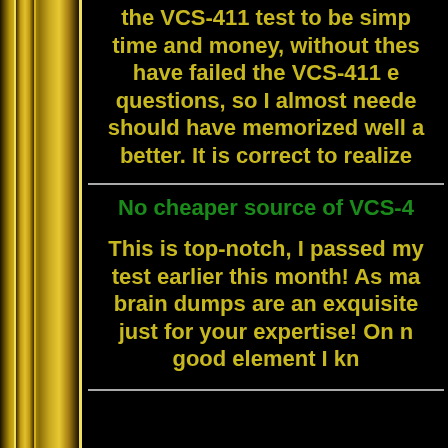the VCS-411 test to be simp... time and money, without thes... have failed the VCS-411 e... questions, so I almost neede... should have memorized well a... better. It is correct to realize...
No cheaper source of VCS-4...
This is top-notch, I passed my... test earlier this month! As ma... brain dumps are an exquisite... just for your expertise! On n... good element I kn...